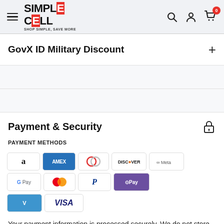[Figure (logo): Simple Cell logo with hamburger menu, search, account, and cart icons in header]
GovX ID Military Discount
Payment & Security
PAYMENT METHODS
[Figure (other): Payment method icons: Amazon, Amex, Diners Club, Discover, Meta, Google Pay, Mastercard, PayPal, OPay, Venmo, Visa]
Your payment information is processed securely. We do not store credit card details nor have access to your credit card